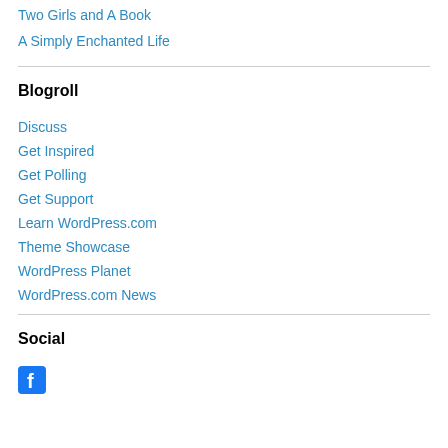Two Girls and A Book
A Simply Enchanted Life
Blogroll
Discuss
Get Inspired
Get Polling
Get Support
Learn WordPress.com
Theme Showcase
WordPress Planet
WordPress.com News
Social
[Figure (logo): Facebook icon/logo in blue]